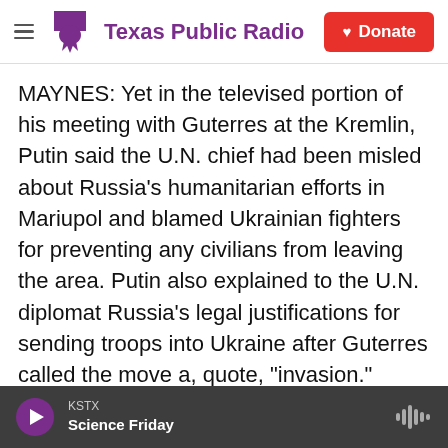Texas Public Radio | Donate
MAYNES: Yet in the televised portion of his meeting with Guterres at the Kremlin, Putin said the U.N. chief had been misled about Russia's humanitarian efforts in Mariupol and blamed Ukrainian fighters for preventing any civilians from leaving the area. Putin also explained to the U.N. diplomat Russia's legal justifications for sending troops into Ukraine after Guterres called the move a, quote, "invasion." Russian authorities have criminalized that description of the military campaign, arguing its troops are on a limited humanitarian mission to protect Russian speakers in east Ukraine. In fact,
KSTX | Science Friday